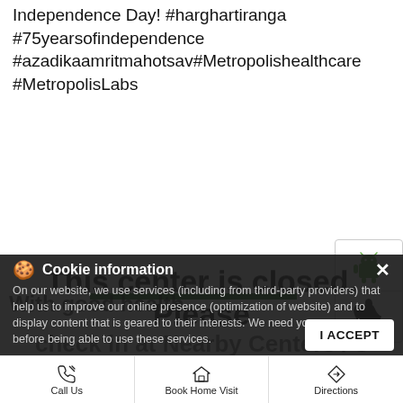Independence Day! #harghartiranga #75yearsofindependence #azadikaamritmahotsav#Metropolishealthcare #MetropolisLabs
#harghartiranga
#75yearsofindependence
#azadikaamritmahotsav
#Metropolishealthcare
#MetropolisLabs
[Figure (screenshot): Android and Apple app store icons displayed in a vertical panel on the right side]
This center is closed. Please check in at Nearby Centers / s below
Cookie Information
On our website, we use services (including from third-party providers) that help us to improve our online presence (optimization of website) and to display content that is geared to their interests. We need your consent before being able to use these services.
With good health
I ACCEPT
Call Us | Book Home Visit | Directions